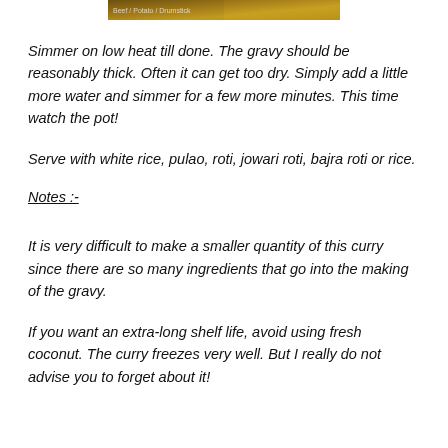[Figure (photo): Two food images at the top of the page showing a cooked curry dish]
Simmer on low heat till done. The gravy should be reasonably thick. Often it can get too dry. Simply add a little more water and simmer for a few more minutes. This time watch the pot!
Serve with white rice, pulao, roti, jowari roti, bajra roti or rice.
Notes :-
It is very difficult to make a smaller quantity of this curry since there are so many ingredients that go into the making of the gravy.
If you want an extra-long shelf life, avoid using fresh coconut. The curry freezes very well. But I really do not advise you to forget about it!